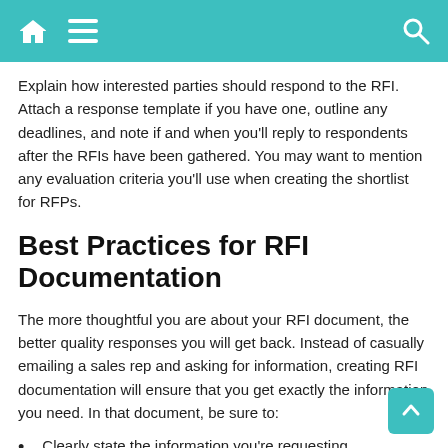Navigation header with home, menu, and search icons
Explain how interested parties should respond to the RFI. Attach a response template if you have one, outline any deadlines, and note if and when you'll reply to respondents after the RFIs have been gathered. You may want to mention any evaluation criteria you'll use when creating the shortlist for RFPs.
Best Practices for RFI Documentation
The more thoughtful you are about your RFI document, the better quality responses you will get back. Instead of casually emailing a sales rep and asking for information, creating RFI documentation will ensure that you get exactly the information you need. In that document, be sure to:
Clearly state the information you're requesting.